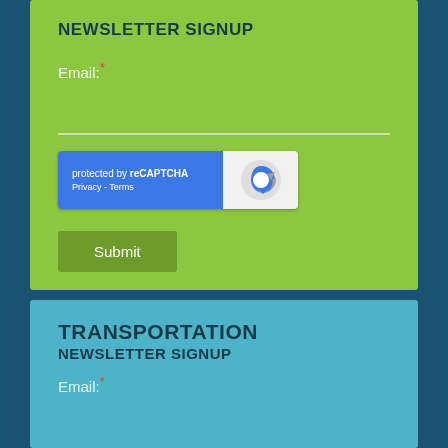NEWSLETTER SIGNUP
Email: *
[Figure (other): reCAPTCHA widget with blue left panel showing 'protected by reCAPTCHA' and 'Privacy - Terms' links, and right panel with reCAPTCHA logo]
Submit
TRANSPORTATION
NEWSLETTER SIGNUP
Email: *